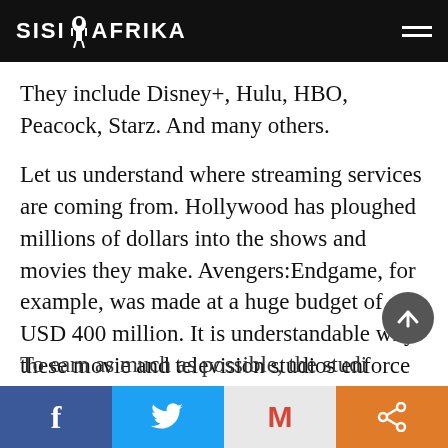SISI AFRIKA
They include Disney+, Hulu, HBO, Peacock, Starz. And many others.
Let us understand where streaming services are coming from. Hollywood has ploughed millions of dollars into the shows and movies they make. Avengers:Endgame, for example, was made at a huge budget of USD 400 million. It is understandable why these movie and television studios enforce strict copyright laws so that they can maximise their profits.
To earn as much as possible, the studios sell
f  [Twitter]  M  [share]